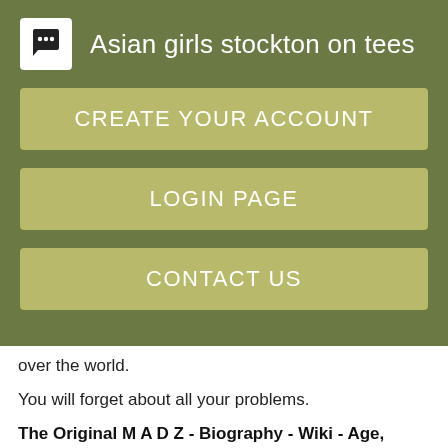Asian girls stockton on tees
CREATE YOUR ACCOUNT
LOGIN PAGE
CONTACT US
over the world.
You will forget about all your problems.
The Original M A D Z - Biography - Wiki - Age, Height - American Plus size Curvy Fashion Model
[Figure (screenshot): Video thumbnail showing The Original M A D Z - Biography | Wiki | Age, with a circular profile image of a group of women on a dark background]